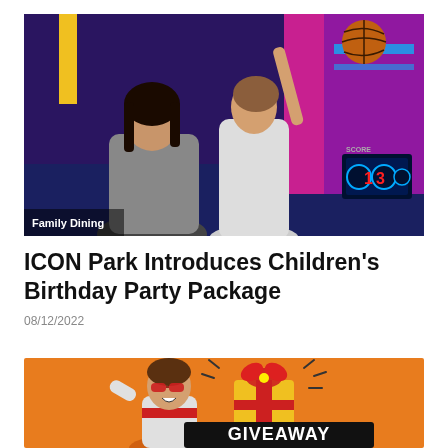[Figure (photo): Children playing arcade basketball game in a colorful arcade setting with purple, pink and blue lights. Caption overlay reads 'Family Dining'.]
ICON Park Introduces Children's Birthday Party Package
08/12/2022
[Figure (photo): Promotional image with orange background showing a child and a gift box with the text GIVEAWAY.]